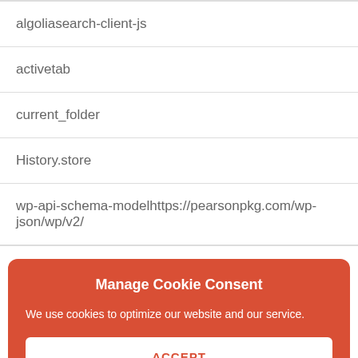| algoliasearch-client-js |
| activetab |
| current_folder |
| History.store |
| wp-api-schema-modelhttps://pearsonpkg.com/wp-json/wp/v2/ |
Manage Cookie Consent
We use cookies to optimize our website and our service.
ACCEPT